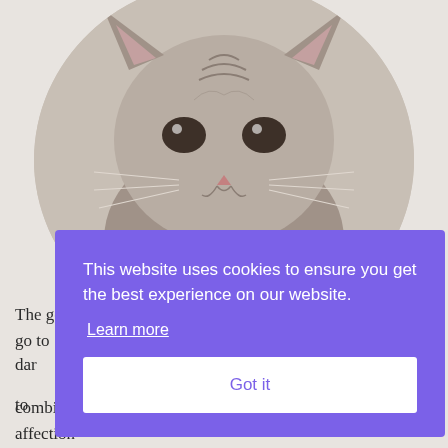[Figure (photo): A kitten peering through a circular opening, shown in sepia/neutral tones. The circular image is cropped to show the kitten's face and upper body.]
The gold medal for all-around wonderful kitty could easily go to dar
to
ma
or
ca
c
combination she is of fun-loving spirit and sweet, deep affection
[Figure (screenshot): Cookie consent overlay with purple background. Text reads: 'This website uses cookies to ensure you get the best experience on our website.' with a 'Learn more' link and a 'Got it' button.]